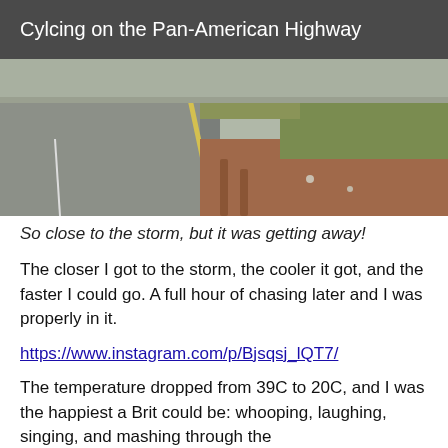Cylcing on the Pan-American Highway
[Figure (photo): Road photo showing a two-lane highway on the left with a yellow center line, and a muddy dirt shoulder on the right with green grass and red-brown soil, overcast sky]
So close to the storm, but it was getting away!
The closer I got to the storm, the cooler it got, and the faster I could go. A full hour of chasing later and I was properly in it.
https://www.instagram.com/p/Bjsqsj_lQT7/
The temperature dropped from 39C to 20C, and I was the happiest a Brit could be: whooping, laughing, singing, and mashing through the